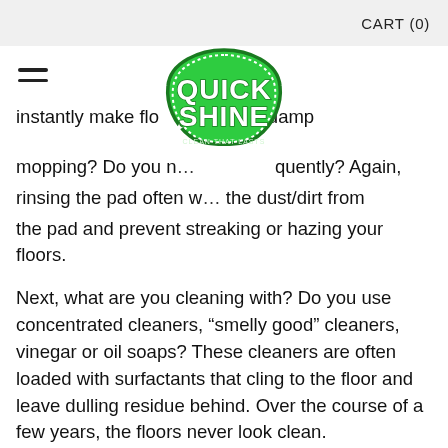CART (0)
[Figure (logo): Quick Shine logo — green badge with white bold text reading QUICK SHINE]
instantly make flo... out damp mopping? Do you n... quently? Again, rinsing the pad often w... the dust/dirt from the pad and prevent streaking or hazing your floors.
Next, what are you cleaning with? Do you use concentrated cleaners, "smelly good" cleaners, vinegar or oil soaps? These cleaners are often loaded with surfactants that cling to the floor and leave dulling residue behind. Over the course of a few years, the floors never look clean.
So now you are wondering how to get back to that new floor look without sanding, refinishing or spending hours on your hands and knees scrubbing. Quick Shine has an entire line of floor care products dedicated to making cleaning easier. With a product for every need, Quick Shine...